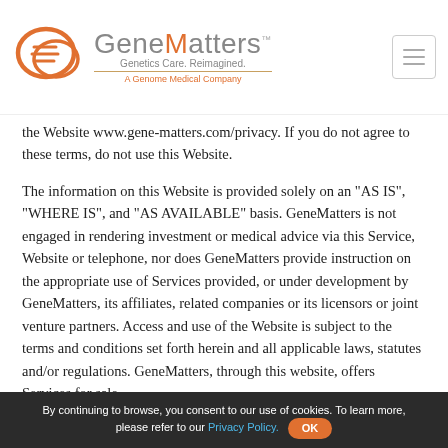[Figure (logo): GeneMatters logo with orange speech bubble icon, company name in gray, tagline 'Genetics Care. Reimagined.' and 'A Genome Medical Company' subtitle]
the Website www.gene-matters.com/privacy. If you do not agree to these terms, do not use this Website.
The information on this Website is provided solely on an "AS IS", "WHERE IS", and "AS AVAILABLE" basis. GeneMatters is not engaged in rendering investment or medical advice via this Service, Website or telephone, nor does GeneMatters provide instruction on the appropriate use of Services provided, or under development by GeneMatters, its affiliates, related companies or its licensors or joint venture partners. Access and use of the Website is subject to the terms and conditions set forth herein and all applicable laws, statutes and/or regulations. GeneMatters, through this website, offers Services for sale.
PROPRIETARY RIGHTS
By continuing to browse, you consent to our use of cookies. To learn more, please refer to our Privacy Policy.